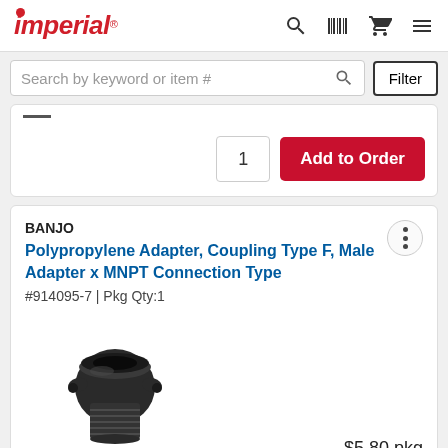Imperial (logo)
Search by keyword or item #
1  Add to Order
BANJO
Polypropylene Adapter, Coupling Type F, Male Adapter x MNPT Connection Type
#914095-7 | Pkg Qty:1
[Figure (photo): Black polypropylene camlock adapter fitting, male type F with MNPT threads]
$5.80 pkg